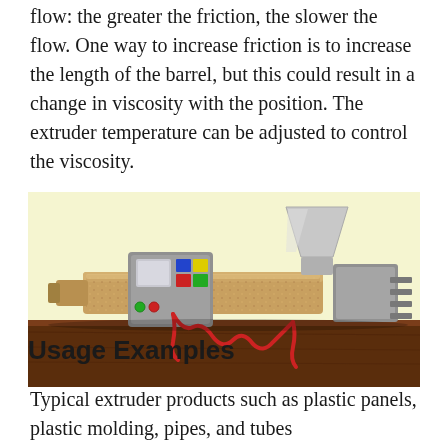flow: the greater the friction, the slower the flow. One way to increase friction is to increase the length of the barrel, but this could result in a change in viscosity with the position. The extruder temperature can be adjusted to control the viscosity.
[Figure (illustration): 3D illustration of an extruder machine on a dark wood surface with a yellow background. The machine has a long barrel/screw, a hopper/funnel on the right, a control panel with colored buttons on the left, red heating coils, and a die/output section on the right end.]
Usage Examples
Typical extruder products such as plastic panels, plastic molding, pipes, and tubes